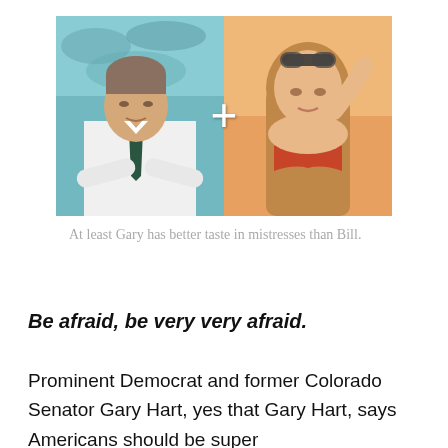[Figure (photo): Composite image of two people side by side with a white plus sign between them. Left: older man in white shirt and dark tie with arms crossed, standing in front of a world map. Right: woman in orange/red bikini top with sunglasses on head.]
At least Gary has better taste in mistresses than Bill.
Be afraid, be very very afraid.
Prominent Democrat and former Colorado Senator Gary Hart, yes that Gary Hart, says Americans should be super